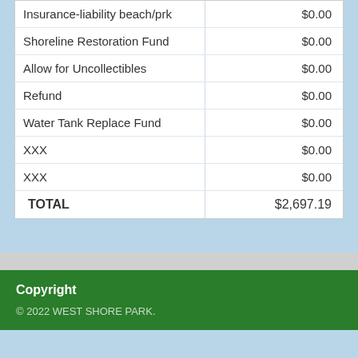| Item | Amount |
| --- | --- |
| Insurance-liability beach/prk | $0.00 |
| Shoreline Restoration Fund | $0.00 |
| Allow for Uncollectibles | $0.00 |
| Refund | $0.00 |
| Water Tank Replace Fund | $0.00 |
| XXX | $0.00 |
| XXX | $0.00 |
| TOTAL | $2,697.19 |
Copyright
© 2022 WEST SHORE PARK.